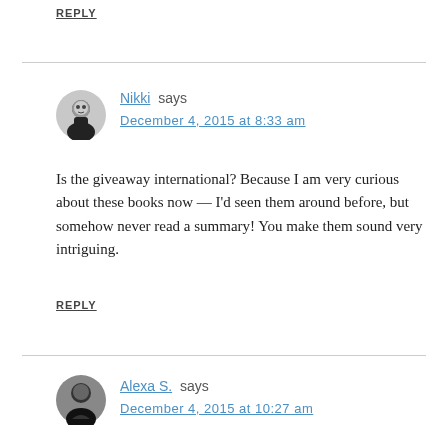REPLY
Nikki says
December 4, 2015 at 8:33 am
Is the giveaway international? Because I am very curious about these books now — I'd seen them around before, but somehow never read a summary! You make them sound very intriguing.
REPLY
Alexa S. says
December 4, 2015 at 10:27 am